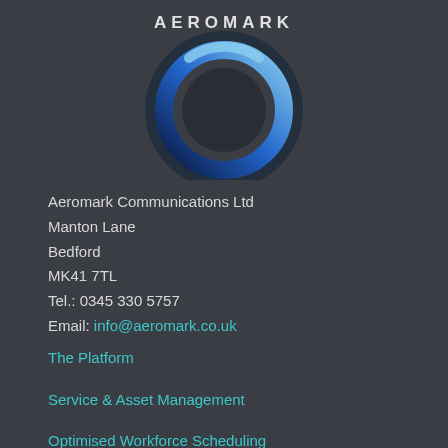[Figure (logo): Aeromark circular logo with blue ring gradient and AEROMARK text in white letters on a dark background]
Aeromark Communications Ltd
Manton Lane
Bedford
MK41 7TL
Tel.: 0345 330 5757
Email: info@aeromark.co.uk
The Platform
Service & Asset Management
Optimised Workforce Scheduling